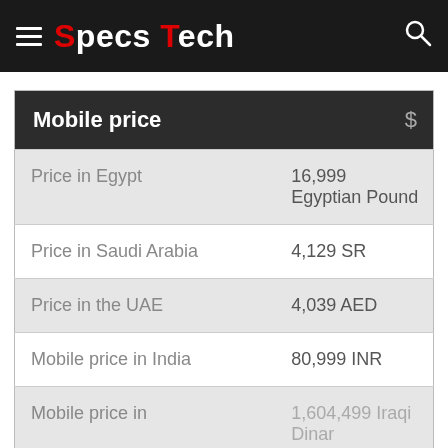Specs Tech
| Mobile price | $ |
| --- | --- |
| Price in Egypt | 16,999 Egyptian Pound |
| Price in Saudi Arabia | 4,129 SR |
| Price in the UAE | 4,039 AED |
| Mobile price in India | 80,999 INR |
| Mobile price in | 1,604,499 Iraqi Dinar |